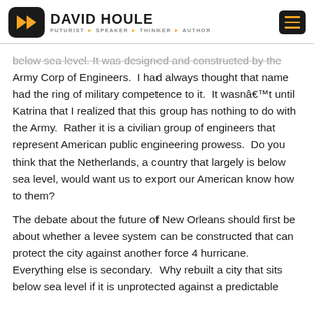DAVID HOULE — FUTURIST > SPEAKER > THINKER > AUTHOR
below sea level. It was designed and constructed by the Army Corp of Engineers.  I had always thought that name had the ring of military competence to it.  It wasnâ€™t until Katrina that I realized that this group has nothing to do with the Army.  Rather it is a civilian group of engineers that represent American public engineering prowess.  Do you think that the Netherlands, a country that largely is below sea level, would want us to export our American know how to them?
The debate about the future of New Orleans should first be about whether a levee system can be constructed that can protect the city against another force 4 hurricane.  Everything else is secondary.  Why rebuilt a city that sits below sea level if it is unprotected against a predictable